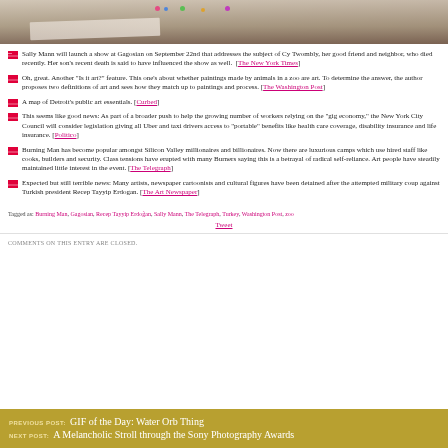[Figure (photo): Top portion of a photo showing painted handprints on paper on a wooden surface]
Sally Mann will launch a show at Gagosian on September 22nd that addresses the subject of Cy Twombly, her good friend and neighbor, who died recently. Her son's recent death is said to have influenced the show as well. [The New York Times]
Oh, great. Another "Is it art?" feature. This one's about whether paintings made by animals in a zoo are art. To determine the answer, the author proposes two definitions of art and sees how they match up to paintings and process. [The Washington Post]
A map of Detroit's public art essentials. [Curbed]
This seems like good news: As part of a broader push to help the growing number of workers relying on the "gig economy," the New York City Council will consider legislation giving all Uber and taxi drivers access to "portable" benefits like health care coverage, disability insurance and life insurance. [Politico]
Burning Man has become popular amongst Silicon Valley millionaires and billionaires. Now there are luxurious camps which use hired staff like cooks, builders and security. Class tensions have erupted with many Burners saying this is a betrayal of radical self-reliance. Art people have steadily maintained little interest in the event. [The Telegraph]
Expected but still terrible news: Many artists, newspaper cartoonists and cultural figures have been detained after the attempted military coup against Turkish president Recep Tayyip Erdogan. [The Art Newspaper]
Tagged as: Burning Man, Gagosian, Recep Tayyip Erdoğan, Sally Mann, The Telegraph, Turkey, Washington Post, zoo
Tweet
COMMENTS ON THIS ENTRY ARE CLOSED.
PREVIOUS POST: GIF of the Day: Water Orb Thing
NEXT POST: A Melancholic Stroll through the Sony Photography Awards